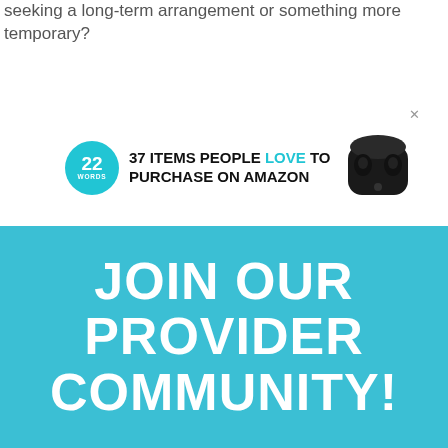seeking a long-term arrangement or something more temporary?
[Figure (infographic): Advertisement banner: '22 Words' teal circular logo on left, text '37 ITEMS PEOPLE LOVE TO PURCHASE ON AMAZON' in bold uppercase with 'LOVE' highlighted in teal, wireless earbuds image on right, close X button top right]
[Figure (infographic): Teal/cyan banner with large bold white uppercase text reading 'JOIN OUR PROVIDER COMMUNITY!']